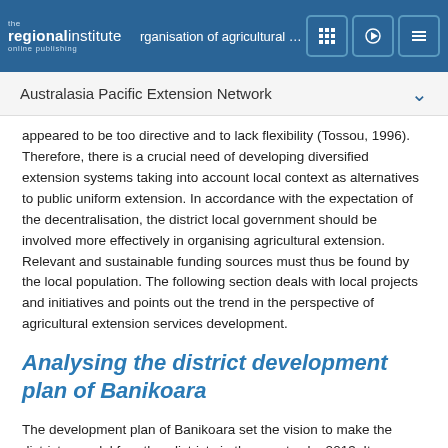the regionalinstitute online publishing — Organisation of agricultural extension — [icons]
Australasia Pacific Extension Network
appeared to be too directive and to lack flexibility (Tossou, 1996). Therefore, there is a crucial need of developing diversified extension systems taking into account local context as alternatives to public uniform extension. In accordance with the expectation of the decentralisation, the district local government should be involved more effectively in organising agricultural extension. Relevant and sustainable funding sources must thus be found by the local population. The following section deals with local projects and initiatives and points out the trend in the perspective of agricultural extension services development.
Analysing the district development plan of Banikoara
The development plan of Banikoara set the vision to make the district a model for other districts in the country, by 2013. It